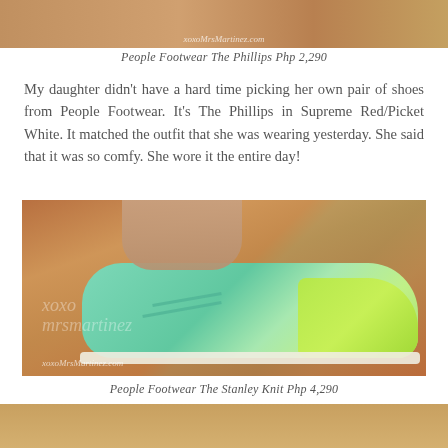[Figure (photo): Top portion of a shoe photo, cropped, showing warm brown/tan tones with xoxoMrsMartinez.com watermark]
People Footwear The Phillips Php 2,290
My daughter didn't have a hard time picking her own pair of shoes from People Footwear. It's The Phillips in Supreme Red/Picket White. It matched the outfit that she was wearing yesterday. She said that it was so comfy. She wore it the entire day!
[Figure (photo): Photo of a girl's foot wearing a mint green and neon yellow/green sneaker (People Footwear The Stanley Knit) on a warm brown tile floor. Watermarks: xoxo mrsmartinez (script) and xoxoMrsMartinez.com]
People Footwear The Stanley Knit Php 4,290
[Figure (photo): Bottom portion of another shoe photo, cropped, warm brown tones]